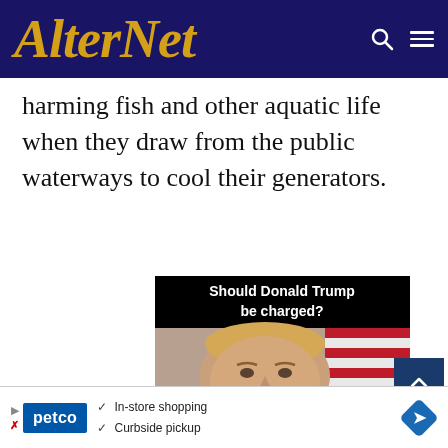AlterNet
harming fish and other aquatic life when they draw from the public waterways to cool their generators.
[Figure (photo): Advertisement image showing 'Should Donald Trump be charged?' with a photo of Donald Trump in front of American flags]
[Figure (advertisement): Petco advertisement showing In-store shopping and Curbside pickup options with navigation icons]